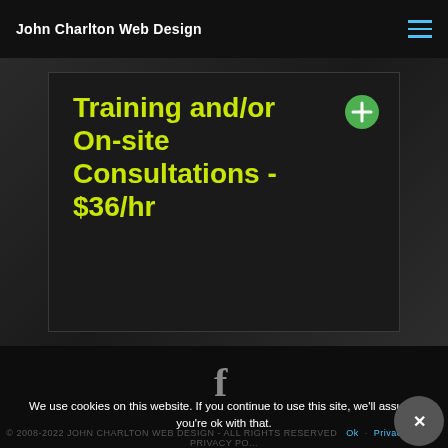John Charlton Web Design
Training and/or On-site Consultations - $36/hr
[Figure (logo): Facebook 'f' icon in gray]
We use cookies on this website. If you continue to use this site, we'll assume you're ok with that.
© 2008-2022 JOHN CHARLTON WEB DESIGN - ALL RIGHTS RESERVED  PRIVACY POLICY